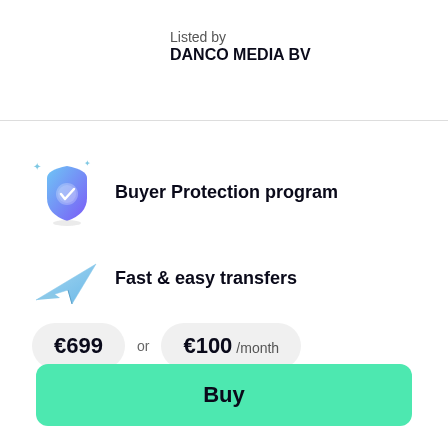Listed by
DANCO MEDIA BV
[Figure (illustration): Shield icon with checkmark and sparkle accents, in blue/teal gradient colors]
Buyer Protection program
[Figure (illustration): Paper plane icon in light blue outline style]
Fast & easy transfers
€699 or €100 /month
Buy